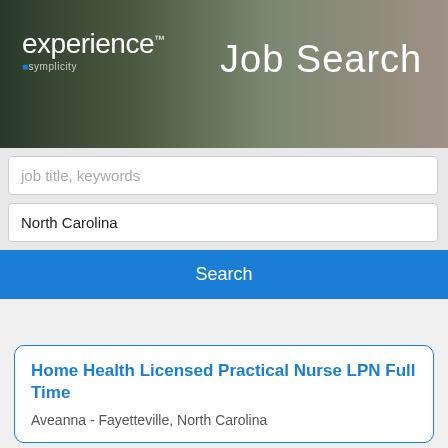[Figure (screenshot): Banner header with experience by symplicity logo on left and 'Job Search' text on right, with background photo of person holding phone]
job title, keywords
North Carolina
Search
Home Health Licensed Practical Nurse LPN Full Time
Aveanna - Fayetteville, North Carolina
LPN, Home Health Full Time
Centerwell - Pollocksville, North Carolina